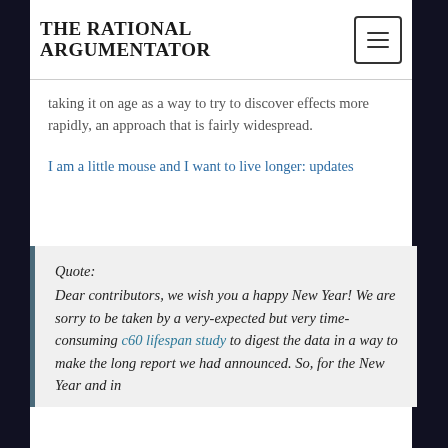THE RATIONAL ARGUMENTATOR
...taking it on age as a way to try to discover effects more rapidly, an approach that is fairly widespread.
I am a little mouse and I want to live longer: updates
Quote:
Dear contributors, we wish you a happy New Year! We are sorry to be taken by a very-expected but very time-consuming c60 lifespan study to digest the data in a way to make the long report we had announced. So, for the New Year and in